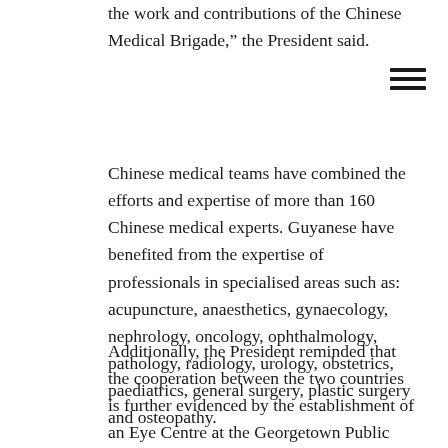the work and contributions of the Chinese Medical Brigade,” the President said.
Chinese medical teams have combined the efforts and expertise of more than 160 Chinese medical experts. Guyanese have benefited from the expertise of professionals in specialised areas such as: acupuncture, anaesthetics, gynaecology, nephrology, oncology, ophthalmology, pathology, radiology, urology, obstetrics, paediatrics, general surgery, plastic surgery and osteopathy.
Additionally, the President reminded that the cooperation between the two countries is further evidenced by the establishment of an Eye Centre at the Georgetown Public Hospital Corporation (GPHC) and the commissioning of a centre for laparoscopic surgery at the Linden Hospital Complex (LHC) in September, 2014.